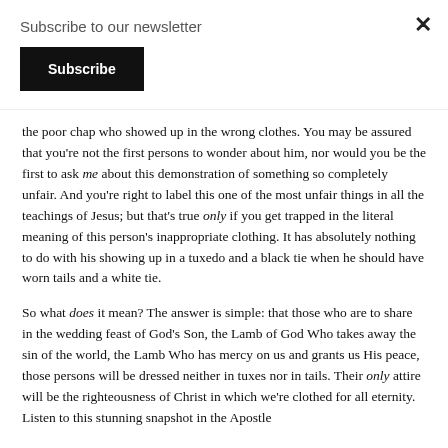Subscribe to our newsletter
the poor chap who showed up in the wrong clothes. You may be assured that you're not the first persons to wonder about him, nor would you be the first to ask me about this demonstration of something so completely unfair. And you're right to label this one of the most unfair things in all the teachings of Jesus; but that's true only if you get trapped in the literal meaning of this person's inappropriate clothing. It has absolutely nothing to do with his showing up in a tuxedo and a black tie when he should have worn tails and a white tie.
So what does it mean? The answer is simple: that those who are to share in the wedding feast of God's Son, the Lamb of God Who takes away the sin of the world, the Lamb Who has mercy on us and grants us His peace, those persons will be dressed neither in tuxes nor in tails. Their only attire will be the righteousness of Christ in which we're clothed for all eternity. Listen to this stunning snapshot in the Apostle